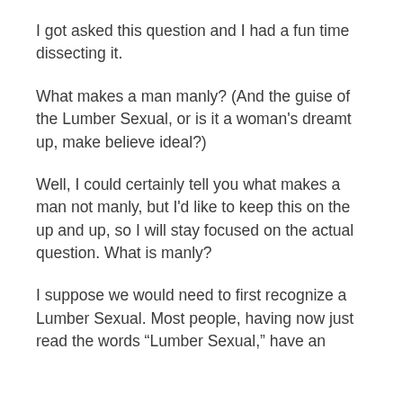I got asked this question and I had a fun time dissecting it.
What makes a man manly? (And the guise of the Lumber Sexual, or is it a woman's dreamt up, make believe ideal?)
Well, I could certainly tell you what makes a man not manly, but I'd like to keep this on the up and up, so I will stay focused on the actual question. What is manly?
I suppose we would need to first recognize a Lumber Sexual. Most people, having now just read the words “Lumber Sexual,” have an